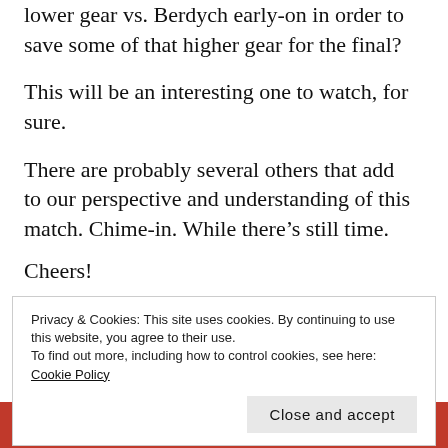lower gear vs. Berdych early-on in order to save some of that higher gear for the final?
This will be an interesting one to watch, for sure.
There are probably several others that add to our perspective and understanding of this match. Chime-in. While there’s still time.
Cheers!
Privacy & Cookies: This site uses cookies. By continuing to use this website, you agree to their use.
To find out more, including how to control cookies, see here: Cookie Policy
[Figure (infographic): Orange/red ad bar at the bottom reading 'All in One Free App' with an icon]